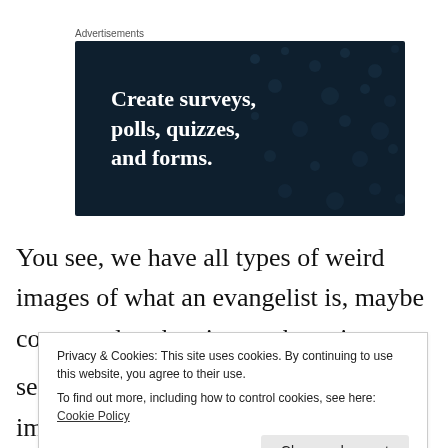[Figure (advertisement): Dark navy blue advertisement banner with white bold text reading 'Create surveys, polls, quizzes, and forms.' with decorative dot pattern background. Labeled 'Advertisements' above.]
You see, we have all types of weird images of what an evangelist is, maybe connected to the picture above in
Privacy & Cookies: This site uses cookies. By continuing to use this website, you agree to their use.
To find out more, including how to control cookies, see here: Cookie Policy
Close and accept
sense. So some of those awkward images of